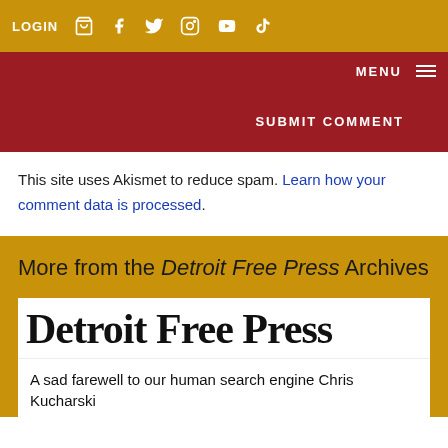LOGIN
MENU
SUBMIT COMMENT
This site uses Akismet to reduce spam. Learn how your comment data is processed.
More from the Detroit Free Press Archives
[Figure (logo): Detroit Free Press newspaper logo in blackletter/gothic font]
A sad farewell to our human search engine Chris Kucharski